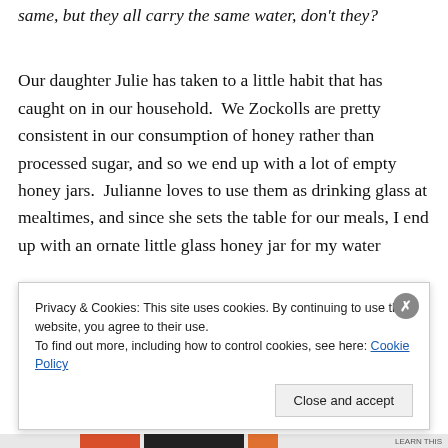same, but they all carry the same water, don't they?
Our daughter Julie has taken to a little habit that has caught on in our household.  We Zockolls are pretty consistent in our consumption of honey rather than processed sugar, and so we end up with a lot of empty honey jars.  Julianne loves to use them as drinking glass at mealtimes, and since she sets the table for our meals, I end up with an ornate little glass honey jar for my water
Privacy & Cookies: This site uses cookies. By continuing to use this website, you agree to their use.
To find out more, including how to control cookies, see here: Cookie Policy
Close and accept